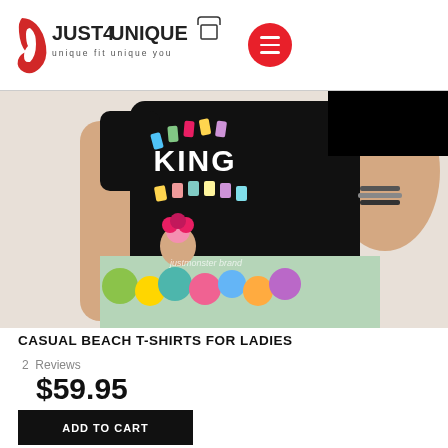[Figure (logo): Just4Unique brand logo with red stylized 'b' icon and text 'JUST4UNIQUE - unique fit unique you']
[Figure (photo): Woman wearing a black casual beach t-shirt with colorful 'KING' print and cartoon monster graphics, paired with a printed skirt]
CASUAL BEACH T-SHIRTS FOR LADIES
2  Reviews
$59.95
ADD TO CART